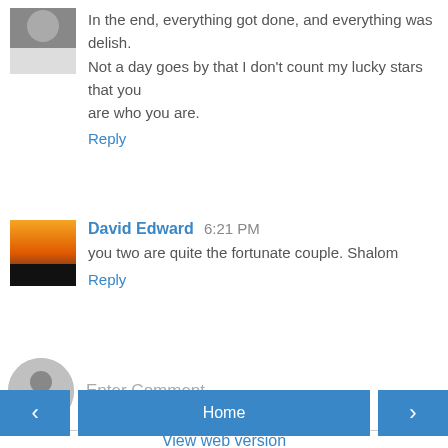In the end, everything got done, and everything was delish. Not a day goes by that I don't count my lucky stars that you are who you are.
Reply
David Edward  6:21 PM
you two are quite the fortunate couple. Shalom
Reply
Enter Comment
Home
View web version
Powered by Blogger.